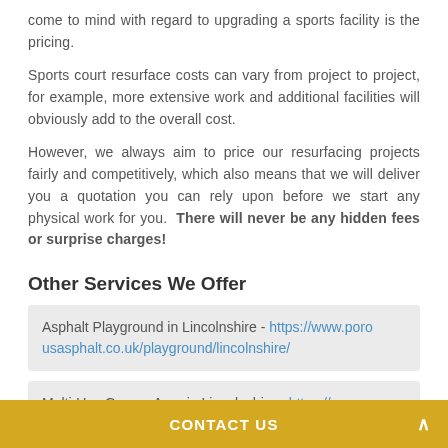come to mind with regard to upgrading a sports facility is the pricing.
Sports court resurface costs can vary from project to project, for example, more extensive work and additional facilities will obviously add to the overall cost.
However, we always aim to price our resurfacing projects fairly and competitively, which also means that we will deliver you a quotation you can rely upon before we start any physical work for you. There will never be any hidden fees or surprise charges!
Other Services We Offer
Asphalt Playground in Lincolnshire - https://www.porousasphalt.co.uk/playground/lincolnshire/
Multi-Use Games Area in Lincolnshire - https://www.po
CONTACT US